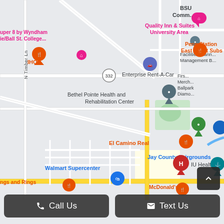[Figure (map): Google Maps screenshot showing area around Muncie/Ball State University area in Indiana. Landmarks include Quality Inn & Suites University Area, Super 8 by Wyndham, IHOP, Penn Station East Coast Subs, Enterprise Rent-A-Car, Bethel Pointe Health and Rehabilitation Center, El Camino Real, Walmart Supercenter, IU Health Jay Hospital, Jay County Fairgrounds, McDonald's, Wings and Rings. Route 332 is visible. N Timber Ln street label on left side.]
Call Us
Text Us